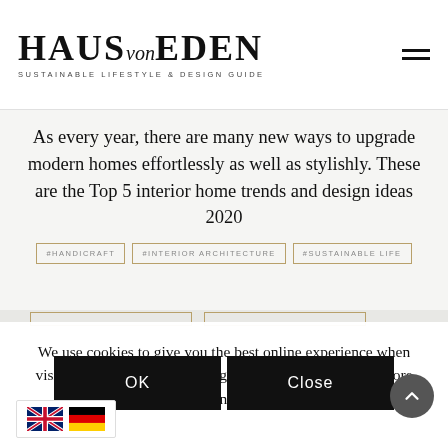HAUS von EDEN — SUSTAINABLE LIFESTYLE & DESIGN GUIDE
As every year, there are many new ways to upgrade modern homes effortlessly as well as stylishly. These are the Top 5 interior home trends and design ideas 2020
#HANDICRAFT
#INTERIOR ARCHITECTURE
#SUSTAINABLE LIFE
We use cookies to give you the best online experience when visiting our websites. By using our website, you agree. More information can be found in our Privacy Policy
OK
Close